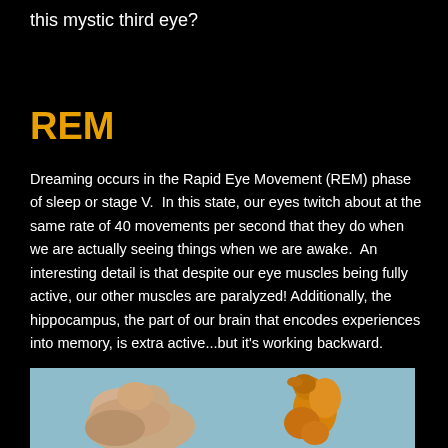this mystic third eye?
REM
Dreaming occurs in the Rapid Eye Movement (REM) phase of sleep or stage V.  In this state, our eyes twitch about at the same rate of 40 movements per second that they do when we are actually seeing things when we are awake.  An interesting detail is that despite our eye muscles being fully active, our other muscles are paralyzed! Additionally, the hippocampus, the part of our brain that encodes experiences into memory, is extra active...but it's working backward.
[Figure (photo): Photo of a hippocampus (brain structure) model on the left, beige/pink colored, and a seahorse figurine on the right, orange/yellow colored, both against a light blue-grey background.]